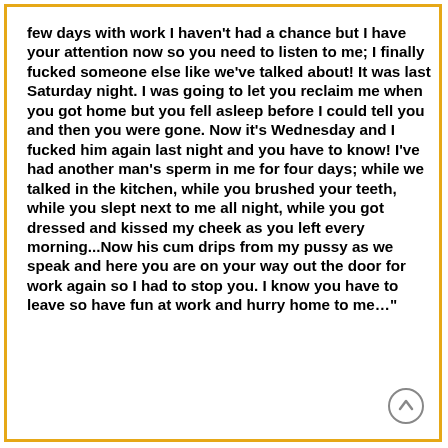few days with work I haven't had a chance but I have your attention now so you need to listen to me; I finally fucked someone else like we've talked about! It was last Saturday night. I was going to let you reclaim me when you got home but you fell asleep before I could tell you and then you were gone. Now it's Wednesday and I fucked him again last night and you have to know! I've had another man's sperm in me for four days; while we talked in the kitchen, while you brushed your teeth, while you slept next to me all night, while you got dressed and kissed my cheek as you left every morning...Now his cum drips from my pussy as we speak and here you are on your way out the door for work again so I had to stop you. I know you have to leave so have fun at work and hurry home to me…"